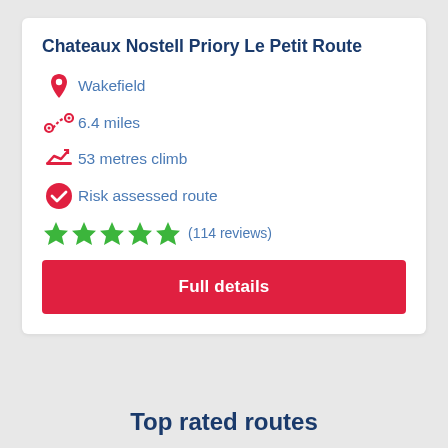Chateaux Nostell Priory Le Petit Route
Wakefield
6.4 miles
53 metres climb
Risk assessed route
★★★★★ (114 reviews)
Full details
Top rated routes